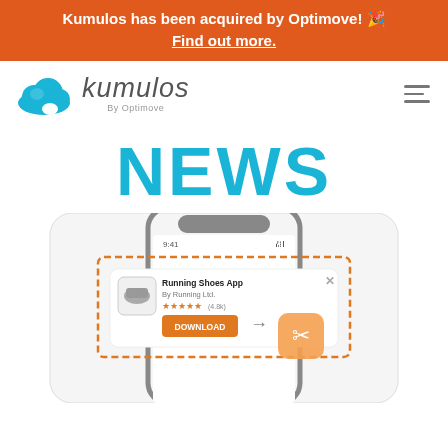Kumulos has been acquired by Optimove! 🎉 Find out more.
[Figure (logo): Kumulos by Optimove logo with blue cloud icon and stylized text]
NEWS
[Figure (illustration): Mobile phone illustration showing a push notification for 'Running Shoes App by Running Ltd.' with download button and star ratings, surrounded by orange dashed border with a magic wand icon]